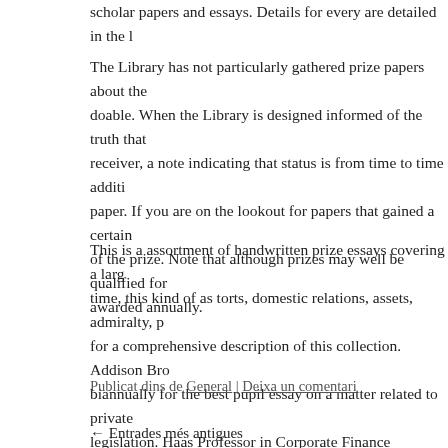scholar papers and essays. Details for every are detailed in the l…
The Library has not particularly gathered prize papers about the… doable. When the Library is designed informed of the truth that… receiver, a note indicating that status is from time to time additi… paper. If you are on the lookout for papers that gained a certain… of the prize. Note that although prizes may well be qualified for… awarded annually.
This is a assortment of handwritten prize essays covering a larg… time, this kind of as torts, domestic relations, assets, admiralty, p… for a comprehensive description of this collection. Addison Bro… biannually for the best pupil essay on a matter related to private… legislation. Haas Professor in Corporate Finance Regulation, En… awarded yearly to the most effective scholar paper on a topic si…
Publicat dins de General | Deixa un comentari
← Entrades més antigues